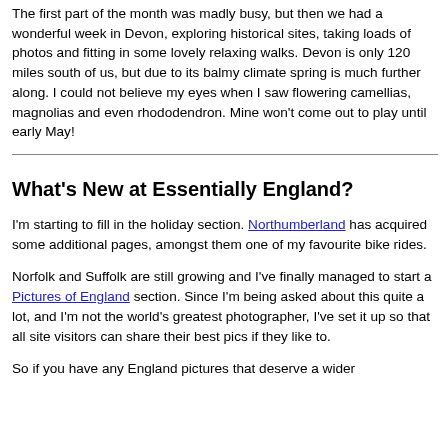The first part of the month was madly busy, but then we had a wonderful week in Devon, exploring historical sites, taking loads of photos and fitting in some lovely relaxing walks. Devon is only 120 miles south of us, but due to its balmy climate spring is much further along. I could not believe my eyes when I saw flowering camellias, magnolias and even rhododendron. Mine won't come out to play until early May!
What's New at Essentially England?
I'm starting to fill in the holiday section. Northumberland has acquired some additional pages, amongst them one of my favourite bike rides.
Norfolk and Suffolk are still growing and I've finally managed to start a Pictures of England section. Since I'm being asked about this quite a lot, and I'm not the world's greatest photographer, I've set it up so that all site visitors can share their best pics if they like to.
So if you have any England pictures that deserve a wider